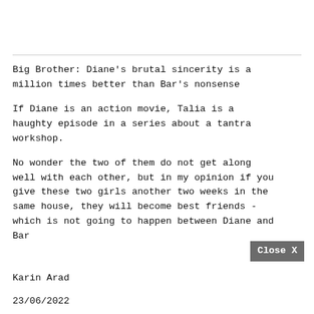Big Brother: Diane's brutal sincerity is a million times better than Bar's nonsense
If Diane is an action movie, Talia is a haughty episode in a series about a tantra workshop.
No wonder the two of them do not get along well with each other, but in my opinion if you give these two girls another two weeks in the same house, they will become best friends - which is not going to happen between Diane and Bar
Karin Arad
23/06/2022